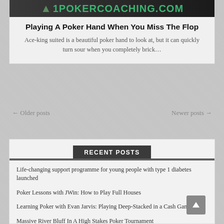[Figure (logo): 1PokerCoaching.com logo banner with green text on dark background]
Playing A Poker Hand When You Miss The Flop
Ace-king suited is a beautiful poker hand to look at, but it can quickly turn sour when you completely brick...
← Older posts
Newer posts →
RECENT POSTS
Life-changing support programme for young people with type 1 diabetes launched
Poker Lessons with JWin: How to Play Full Houses
Learning Poker with Evan Jarvis: Playing Deep-Stacked in a Cash Game
Massive River Bluff In A High Stakes Poker Tournament
Poker Pro Tips: Matt Affleck Breaks Down How To Play